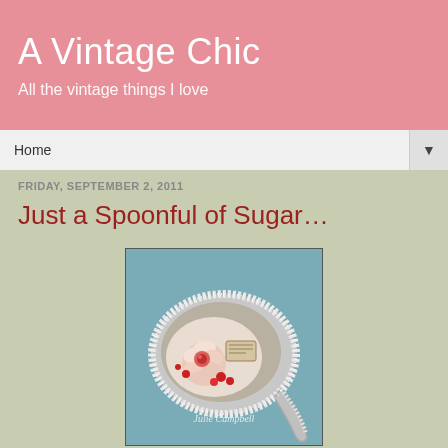A Vintage Chic
All the vintage things I love
Home
FRIDAY, SEPTEMBER 2, 2011
Just a Spoonful of Sugar…
[Figure (photo): A decorative silver spoon with glittery edges containing a vintage rose illustration and a small label, photographed on a blue fabric background. Watermark reads 'Julie Campbell'.]